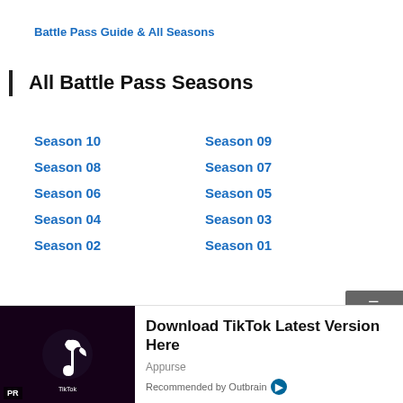Battle Pass Guide & All Seasons
All Battle Pass Seasons
Season 10
Season 09
Season 08
Season 07
Season 06
Season 05
Season 04
Season 03
Season 02
Season 01
[Figure (photo): TikTok app on a phone held in a dark setting]
Download TikTok Latest Version Here
Appurse
Recommended by Outbrain